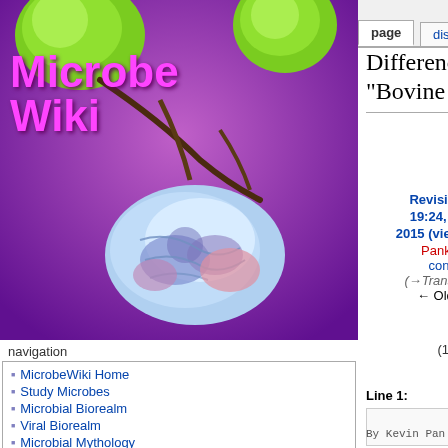[Figure (logo): MicrobeWiki logo with purple background, green circular blobs, and colorful microbe illustration]
navigation
MicrobeWiki Home
Study Microbes
Microbial Biorealm
Viral Biorealm
Microbial Mythology
Recent changes
Random page
Contact MicrobeWiki
Help
tools
What links here
Related changes
Special pages
Printable version
log in
Difference between revisions of "Bovine spongiform encephalopathy"
Revision as of 19:24, 20 April 2015 (view source) Pank (talk | contribs) (→Transmission) ← Older edit
Latest revision as of 18:03, 29 September 2015 (view source) BarichD (talk | contribs)
(139 intermediate revisions by one other user not shown)
Line 1:
Line 1:
{{Uncurated}}
By Kevin Pan
By Kevin Pan